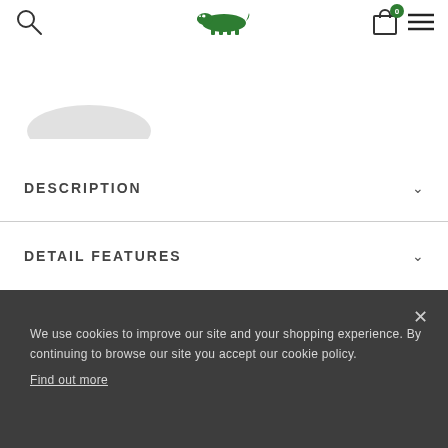Lacoste website header with search, logo, cart (0), and menu
[Figure (photo): Partial product image — bottom arc of a cap or hat visible against white background]
DESCRIPTION
DETAIL FEATURES
We use cookies to improve our site and your shopping experience. By continuing to browse our site you accept our cookie policy.
Find out more